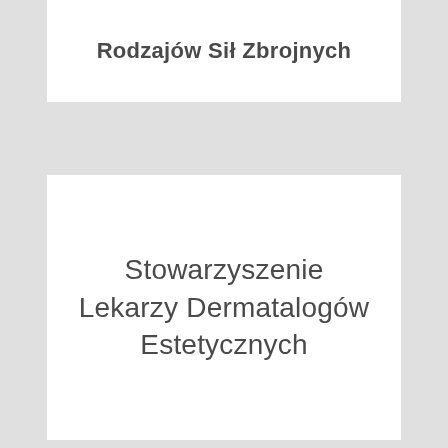Rodzajów Sił Zbrojnych
Stowarzyszenie Lekarzy Dermatalogów Estetycznych